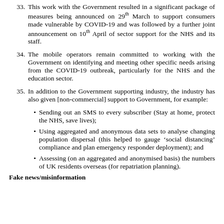33. This work with the Government resulted in a significant package of measures being announced on 29th March to support consumers made vulnerable by COVID-19 and was followed by a further joint announcement on 10th April of sector support for the NHS and its staff.
34. The mobile operators remain committed to working with the Government on identifying and meeting other specific needs arising from the COVID-19 outbreak, particularly for the NHS and the education sector.
35. In addition to the Government supporting industry, the industry has also given [non-commercial] support to Government, for example:
Sending out an SMS to every subscriber (Stay at home, protect the NHS, save lives);
Using aggregated and anonymous data sets to analyse changing population dispersal (this helped to gauge ‘social distancing’ compliance and plan emergency responder deployment); and
Assessing (on an aggregated and anonymised basis) the numbers of UK residents overseas (for repatriation planning).
Fake news/misinformation